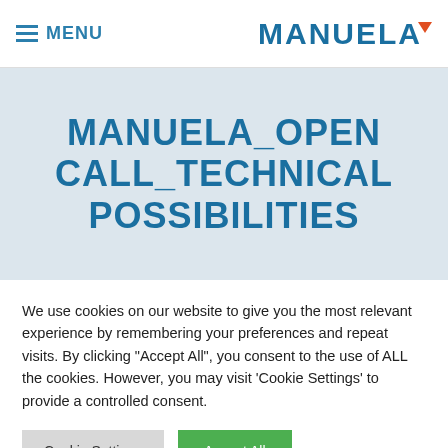MENU | MANUELA
MANUELA_OPEN CALL_TECHNICAL POSSIBILITIES
We use cookies on our website to give you the most relevant experience by remembering your preferences and repeat visits. By clicking "Accept All", you consent to the use of ALL the cookies. However, you may visit 'Cookie Settings' to provide a controlled consent.
Cookie Settings | Accept All